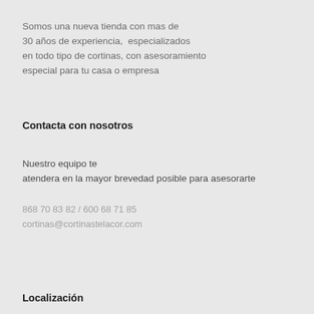Somos una nueva tienda con mas de 30 años de experiencia, especializados en todo tipo de cortinas, con asesoramiento especial para tu casa o empresa
Contacta con nosotros
Nuestro equipo te atendera en la mayor brevedad posible para asesorarte
868 70 83 82 / 600 68 71 85
cortinas@cortinastelacor.com
Localización
C/ Juan Antonio Hernandez del Aguila, 17